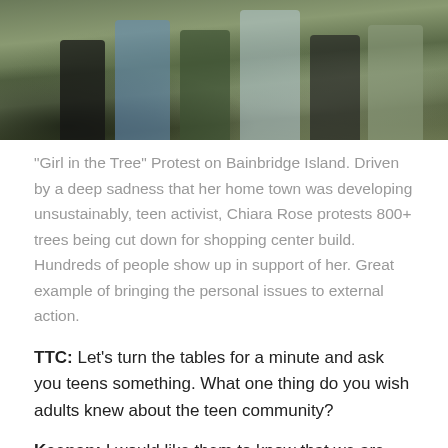[Figure (photo): Group photo of people outdoors, partial view showing torsos and legs of multiple individuals in a wooded or outdoor setting]
“Girl in the Tree” Protest on Bainbridge Island. Driven by a deep sadness that her home town was developing unsustainably, teen activist, Chiara Rose protests 800+ trees being cut down for shopping center build. Hundreds of people show up in support of her. Great example of bringing the personal issues to external action.
TTC: Let’s turn the tables for a minute and ask you teens something. What one thing do you wish adults knew about the teen community?
Keenan: I would like them to know that we are mature and if we show that we are mature they need to know that we can handle more. Sometimes, say they are mature and